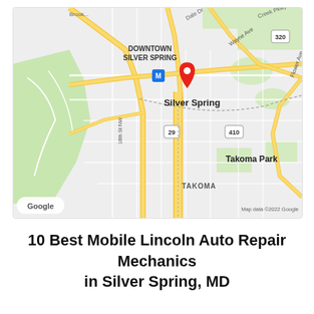[Figure (map): Google Maps view showing Silver Spring, MD area with a red location pin marker near Downtown Silver Spring. Map shows streets, highways (routes 29, 410, 320), landmarks including Takoma Park, Downtown Silver Spring label, Wayne Ave, Flower Ave, 16th St NW, and surrounding neighborhoods with green park areas. Google logo and 'Map data ©2022 Google' attribution visible.]
10 Best Mobile Lincoln Auto Repair Mechanics in Silver Spring, MD